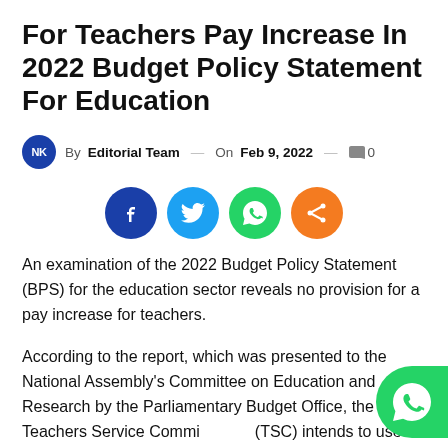For Teachers Pay Increase In 2022 Budget Policy Statement For Education
By Editorial Team — On Feb 9, 2022 — 0
[Figure (other): Social media share buttons: Facebook (dark blue), Twitter (light blue), WhatsApp (green), Share (orange)]
An examination of the 2022 Budget Policy Statement (BPS) for the education sector reveals no provision for a pay increase for teachers.
According to the report, which was presented to the National Assembly's Committee on Education and Research by the Parliamentary Budget Office, the Teachers Service Commission (TSC) intends to use its increased allocation of Sh15 billion to employ 13,000 secondary school teachers and 9,000 interns to